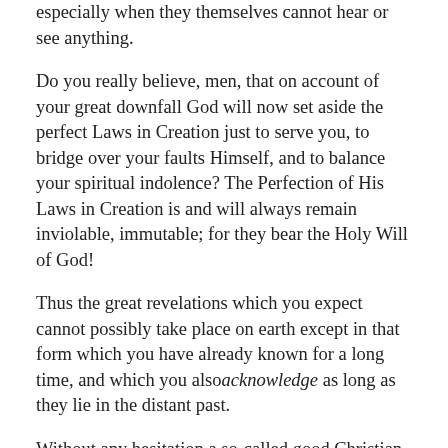especially when they themselves cannot hear or see anything.
Do you really believe, men, that on account of your great downfall God will now set aside the perfect Laws in Creation just to serve you, to bridge over your faults Himself, and to balance your spiritual indolence? The Perfection of His Laws in Creation is and will always remain inviolable, immutable; for they bear the Holy Will of God!
Thus the great revelations which you expect cannot possibly take place on earth except in that form which you have already known for a long time, and which you also acknowledge as long as they lie in the distant past.
Without any hesitation a so-called good Christian would designate as a blasphemer and see as a great sinner that person who would dare to assert that the announcement to the shepherds of the birth of the Son of God Jesus is a fairy tale.